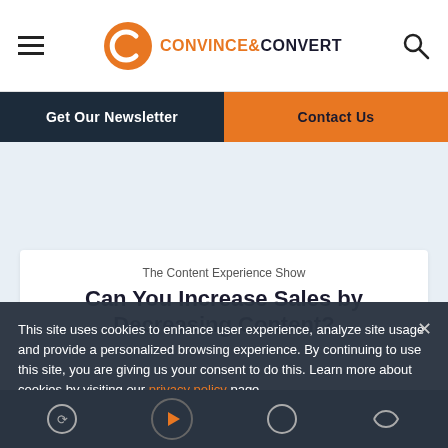[Figure (logo): Convince & Convert logo with orange C icon and orange/dark text]
Get Our Newsletter
Contact Us
The Content Experience Show
Can You Increase Sales by Decreasing Content?
This site uses cookies to enhance user experience, analyze site usage and provide a personalized browsing experience. By continuing to use this site, you are giving us your consent to do this. Learn more about cookies by visiting our privacy policy page.
Learn More
I Agree